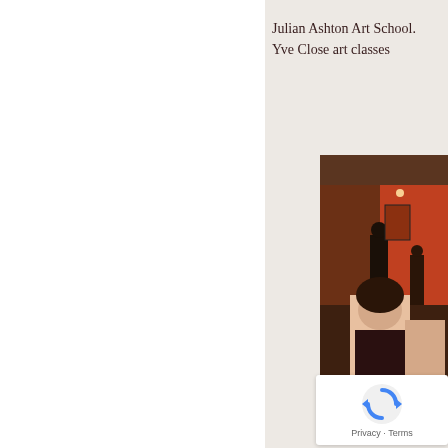Julian Ashton Art School.
Yve Close art classes
[Figure (photo): People at an art gallery event, woman in foreground wearing a sleeveless dress, dark interior with warm orange/red walls]
[Figure (other): Google reCAPTCHA widget overlay with Privacy and Terms text]